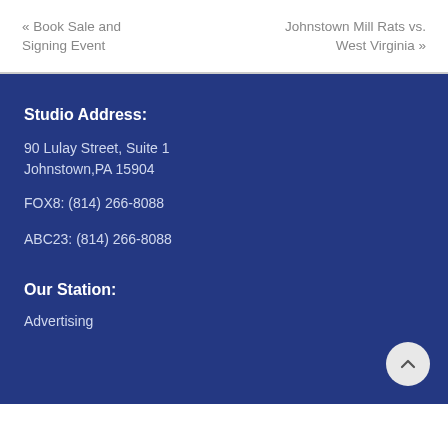« Book Sale and Signing Event
Johnstown Mill Rats vs. West Virginia »
Studio Address:
90 Lulay Street, Suite 1
Johnstown,PA 15904
FOX8: (814) 266-8088
ABC23: (814) 266-8088
Our Station:
Advertising